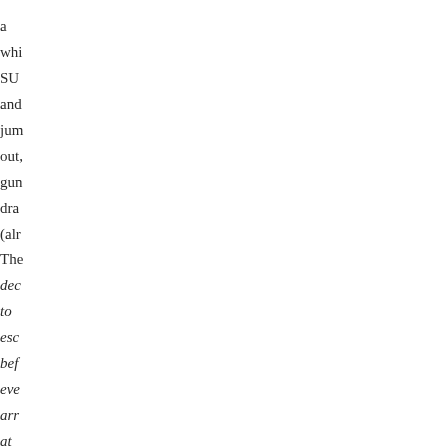a whi SU and jum out, gun dra (alr The dec to esc bef eve arr at the sce Pow bac awa say